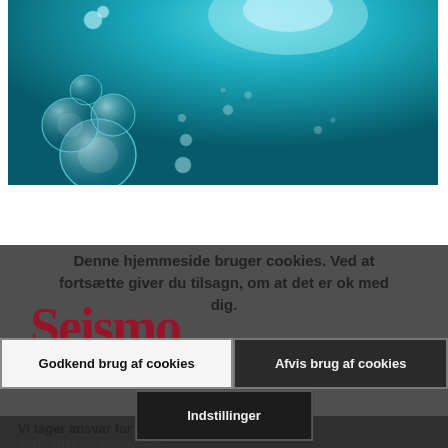[Figure (photo): Underwater photo with bubbles rising through teal/cyan water, large bubble cluster on the left and smaller scattered bubbles.]
Denne hjemmeside bruger cookies. Ved at fortsætte giver du tilsagn, om at det er ok med dig.
[Figure (logo): Seismo logo in dark red/crimson large serif text, partially visible behind cookie overlay.]
Godkend brug af cookies
Afvis brug af cookies
Indstillinger
Vi tager ansvar for indholdet og er tilmeldt